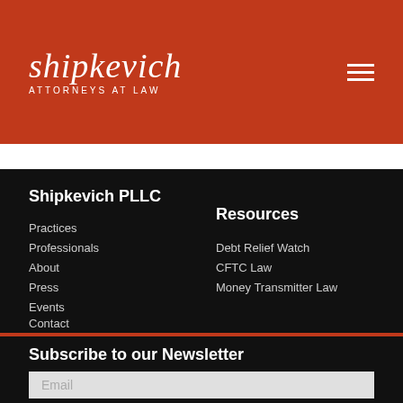shipkevich ATTORNEYS AT LAW
Shipkevich PLLC
Practices
Professionals
About
Press
Events
Contact
Resources
Debt Relief Watch
CFTC Law
Money Transmitter Law
Subscribe to our Newsletter
Email